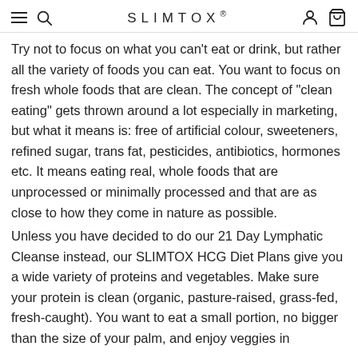SLIMTOX®
Try not to focus on what you can't eat or drink, but rather all the variety of foods you can eat. You want to focus on fresh whole foods that are clean. The concept of "clean eating" gets thrown around a lot especially in marketing, but what it means is: free of artificial colour, sweeteners, refined sugar, trans fat, pesticides, antibiotics, hormones etc. It means eating real, whole foods that are unprocessed or minimally processed and that are as close to how they come in nature as possible.
Unless you have decided to do our 21 Day Lymphatic Cleanse instead, our SLIMTOX HCG Diet Plans give you a wide variety of proteins and vegetables. Make sure your protein is clean (organic, pasture-raised, grass-fed, fresh-caught). You want to eat a small portion, no bigger than the size of your palm, and enjoy veggies in